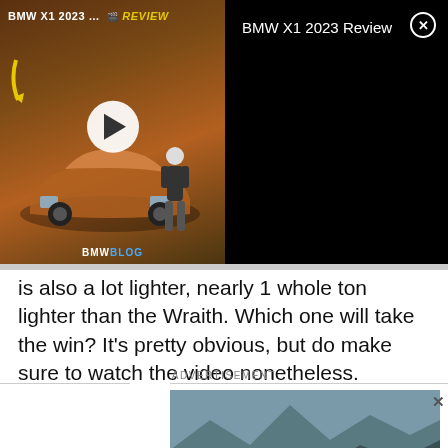[Figure (screenshot): BMW X1 2023 Design Review video thumbnail with play button and BMW Blog logo, showing orange BMW SUV with man standing beside it]
BMW X1 2023 Review
is also a lot lighter, nearly 1 whole ton lighter than the Wraith. Which one will take the win? It’s pretty obvious, but do make sure to watch the video nonetheless.
ADVERTISEMENT
[Figure (photo): HRE Performance Wheels advertisement showing a dark sports car in front of mountains with HRE circular logo badge at top]